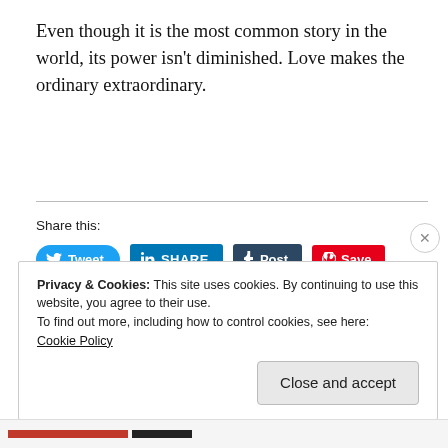Even though it is the most common story in the world, its power isn't diminished. Love makes the ordinary extraordinary.
Share this:
[Figure (screenshot): Social share buttons: Tweet (Twitter/blue), SHARE (LinkedIn/blue), Post (Tumblr/dark), Save (Pinterest/red), Pocket with count 0, Print, Email]
Privacy & Cookies: This site uses cookies. By continuing to use this website, you agree to their use.
To find out more, including how to control cookies, see here:
Cookie Policy
Close and accept